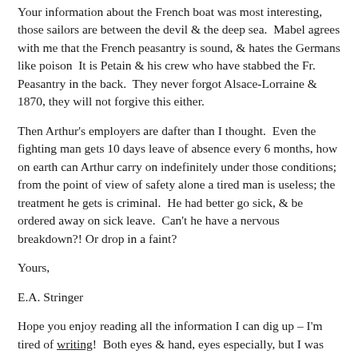Your information about the French boat was most interesting, those sailors are between the devil & the deep sea.  Mabel agrees with me that the French peasantry is sound, & hates the Germans like poison  It is Petain & his crew who have stabbed the Fr. Peasantry in the back.  They never forgot Alsace-Lorraine & 1870, they will not forgive this either.
Then Arthur's employers are dafter than I thought.  Even the fighting man gets 10 days leave of absence every 6 months, how on earth can Arthur carry on indefinitely under those conditions; from the point of view of safety alone a tired man is useless; the treatment he gets is criminal.  He had better go sick, & be ordered away on sick leave.  Can't he have a nervous breakdown?! Or drop in a faint?
Yours,
E.A. Stringer
Hope you enjoy reading all the information I can dig up – I'm tired of writing!  Both eyes & hand, eyes especially, but I was sure you would want to know about Gu.